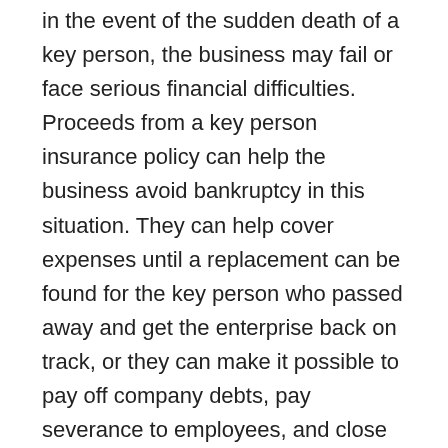in the event of the sudden death of a key person, the business may fail or face serious financial difficulties. Proceeds from a key person insurance policy can help the business avoid bankruptcy in this situation. They can help cover expenses until a replacement can be found for the key person who passed away and get the enterprise back on track, or they can make it possible to pay off company debts, pay severance to employees, and close the company down properly.
How Does Key Person Insurance Work?
The business or company purchases a life insurance policy on the key person and pays the premiums. The business is the beneficiary of the policy. If the key person should die, the business would receive tax-free death benefits from the insurance company, which